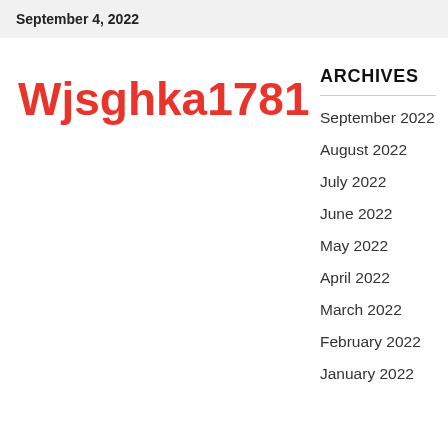September 4, 2022
Wjsghka1781
ARCHIVES
September 2022
August 2022
July 2022
June 2022
May 2022
April 2022
March 2022
February 2022
January 2022